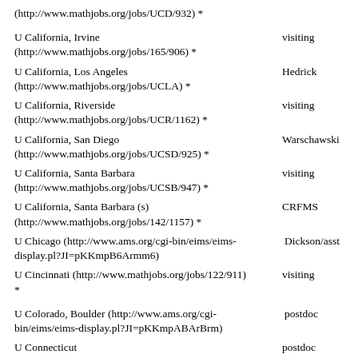(http://www.mathjobs.org/jobs/UCD/932) *
U California, Irvine (http://www.mathjobs.org/jobs/165/906) *	visiting
U California, Los Angeles (http://www.mathjobs.org/jobs/UCLA) *	Hedrick
U California, Riverside (http://www.mathjobs.org/jobs/UCR/1162) *	visiting
U California, San Diego (http://www.mathjobs.org/jobs/UCSD/925) *	Warschawski
U California, Santa Barbara (http://www.mathjobs.org/jobs/UCSB/947) *	visiting
U California, Santa Barbara (s) (http://www.mathjobs.org/jobs/142/1157) *	CRFMS
U Chicago (http://www.ams.org/cgi-bin/eims/eims-display.pl?JI=pKKmpB6Armm6)	Dickson/asst
U Cincinnati (http://www.mathjobs.org/jobs/122/911) *	visiting
U Colorado, Boulder (http://www.ams.org/cgi-bin/eims/eims-display.pl?JI=pKKmpABArBrm)	postdoc
U Connecticut (http://www.mathjobs.org/jobs/UCONN/977) *	postdoc